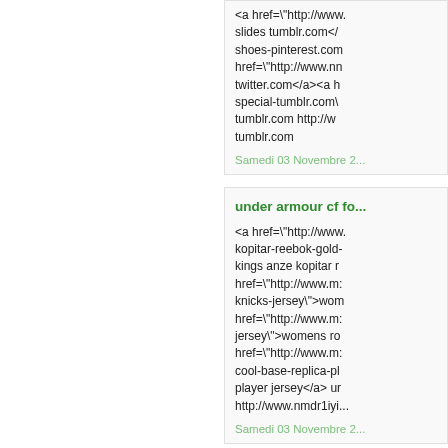<a href="http://www. slides tumblr.com</ shoes-pinterest.com href="http://www.nn twitter.com</a><a h special-tumblr.com\ tumblr.com http://w tumblr.com
Samedi 03 Novembre 2...
under armour cf fo...
<a href="http://www. kopitar-reebok-gold- kings anze kopitar r href="http://www.m: knicks-jersey">wom href="http://www.m: jersey">womens ro href="http://www.m: cool-base-replica-pl player jersey</a> ur http://www.nmdr1iyi...
Samedi 03 Novembre 2...
adidas skinny pant...
<a href="http://www. Jackson-Black-Logo- Jackson Black Logo- href="http://www.ga shirt.-Houston-Rock Houston Rockets...